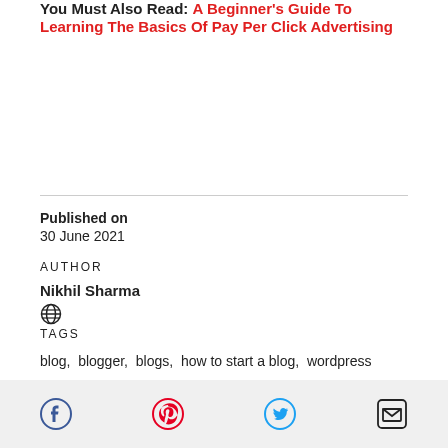You Must Also Read: A Beginner's Guide To Learning The Basics Of Pay Per Click Advertising
Published on
30 June 2021
AUTHOR
Nikhil Sharma
TAGS
blog,  blogger,  blogs,  how to start a blog,  wordpress
[Figure (other): Social share icons: Facebook, Pinterest, Twitter, Email]